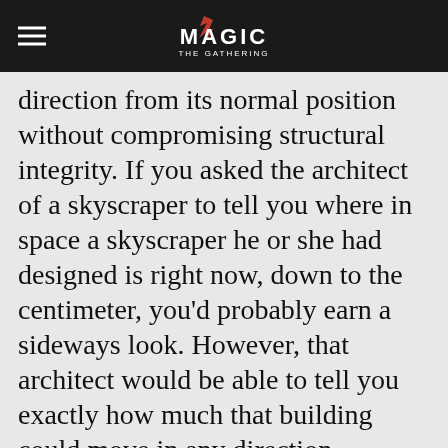Magic: The Gathering
direction from its normal position without compromising structural integrity. If you asked the architect of a skyscraper to tell you where in space a skyscraper he or she had designed is right now, down to the centimeter, you'd probably earn a sideways look. However, that architect would be able to tell you exactly how much that building could move in any direction.
We use necessary cookies to allow our site to function correctly and collect anonymous session data. Necessary cookies can be opted out through your browser settings. We also use optional cookies to personalize content and ads, provide social medial features and analyze web traffic. By clicking "OK, I agree," you consent to optional cookies.
(Learn more about cookies.)
OK, I agree   No, thanks